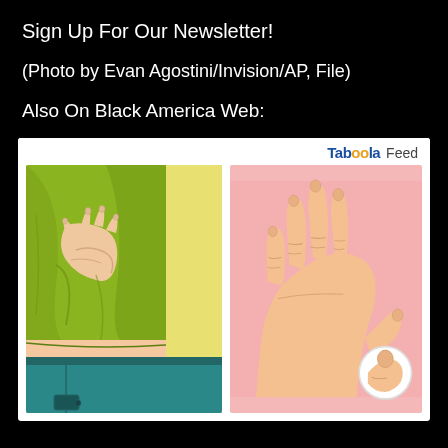Sign Up For Our Newsletter!
(Photo by Evan Agostini/Invision/AP, File)
Also On Black America Web:
[Figure (illustration): Taboola Feed widget showing two cartoon/illustration images: left image shows a person's torso wearing a green long-sleeve shirt and teal pants, with a hand on the stomach/side area. Right image shows a close-up of a hand with fingers spread out on a pink background, with a magnified circle highlighting a fingernail.]